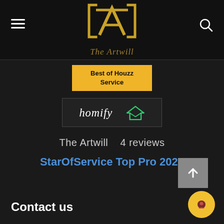[Figure (logo): The Artwill logo — gold geometric A-T monogram with script 'The Artwill' text below, on dark background with hamburger menu and search icon]
[Figure (logo): Best of Houzz Service badge — gold/yellow background with black text]
[Figure (logo): Homify logo badge — white text 'homify' with green house icon on dark background]
The Artwill   4 reviews
StarOfService Top Pro 2021
Contact us